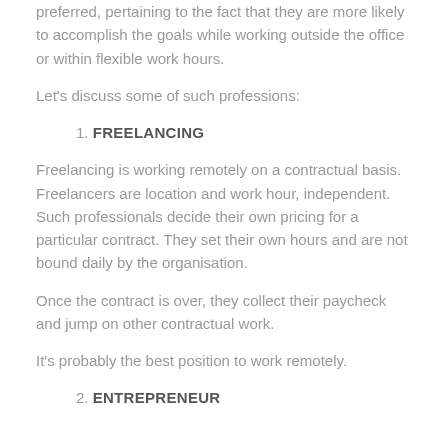preferred, pertaining to the fact that they are more likely to accomplish the goals while working outside the office or within flexible work hours.
Let's discuss some of such professions:
1. FREELANCING
Freelancing is working remotely on a contractual basis. Freelancers are location and work hour, independent. Such professionals decide their own pricing for a particular contract. They set their own hours and are not bound daily by the organisation.
Once the contract is over, they collect their paycheck and jump on other contractual work.
It's probably the best position to work remotely.
2. ENTREPRENEUR